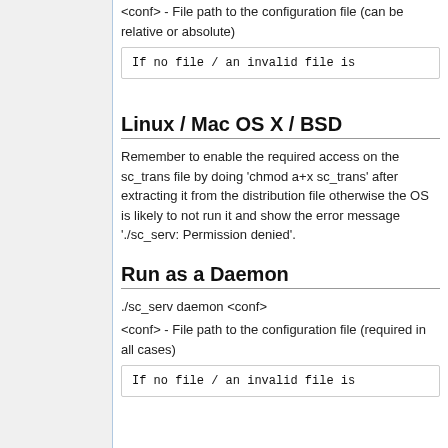<conf> - File path to the configuration file (can be relative or absolute)
If no file / an invalid file is
Linux / Mac OS X / BSD
Remember to enable the required access on the sc_trans file by doing 'chmod a+x sc_trans' after extracting it from the distribution file otherwise the OS is likely to not run it and show the error message './sc_serv: Permission denied'.
Run as a Daemon
./sc_serv daemon <conf>
<conf> - File path to the configuration file (required in all cases)
If no file / an invalid file is